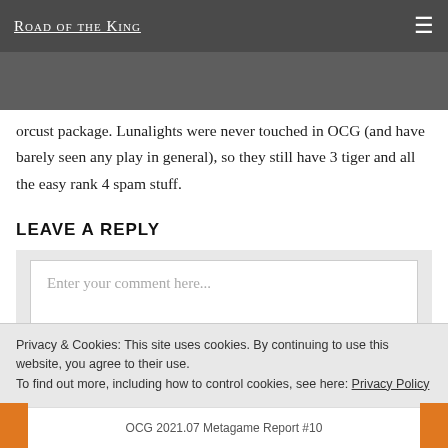Road of the King
to the same lunalight pile that was so good in the TCG. Here it is but with the D Hero package replacing the old orcust package. Lunalights were never touched in OCG (and have barely seen any play in general), so they still have 3 tiger and all the easy rank 4 spam stuff.
LEAVE A REPLY
Enter your comment here...
Privacy & Cookies: This site uses cookies. By continuing to use this website, you agree to their use.
To find out more, including how to control cookies, see here: Privacy Policy
Close and accept
OCG 2021.07 Metagame Report #10